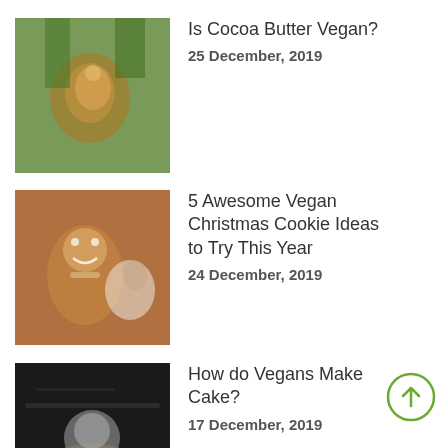[Figure (photo): Person holding cocoa pods, wearing a straw hat, green foliage background]
Is Cocoa Butter Vegan?
25 December, 2019
[Figure (photo): Gingerbread man cookie being held, blurred dog in background, warm brown tones]
5 Awesome Vegan Christmas Cookie Ideas to Try This Year
24 December, 2019
[Figure (photo): Elderly person with a pie/cake in a dark oven setting with flour dust]
How do Vegans Make Cake?
17 December, 2019